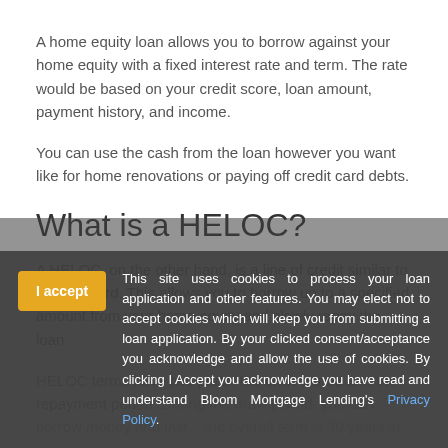A home equity loan allows you to borrow against your home equity with a fixed interest rate and term. The rate would be based on your credit score, loan amount, payment history, and income.
You can use the cash from the loan however you want like for home renovations or paying off credit card debts.
What is a HELOC?
A HELOC, on the other hand, is a line of credit similar to a credit card. This allows you to borrow up to a specified amount from your home equity and slowly repay the loan.
HELOC terms have two parts: the draw period and the repayment period. During the draw period, you can borrow money and last... the overall term is 30 years in this case you can borrow any more once the draw period ends.
What are the differences between a home equity loan and a HELOC?
This site uses cookies to process your loan application and other features. You may elect not to accept cookies which will keep you from submitting a loan application. By your clicked consent/acceptance you acknowledge and allow the use of cookies. By clicking I Accept you acknowledge you have read and understand Bloom Mortgage Lending's Privacy Policy.